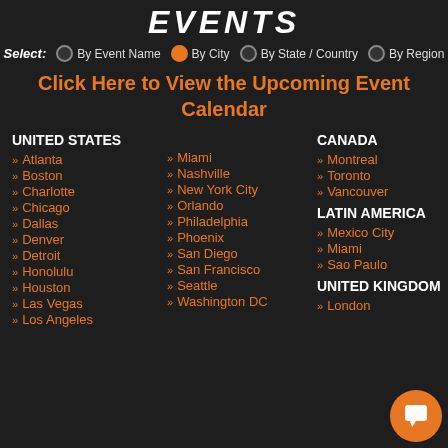EVENTS
Select: By Event Name | By City (selected) | By State / Country | By Region
Click Here to View the Upcoming Event Calendar
UNITED STATES
Atlanta
Boston
Charlotte
Chicago
Dallas
Denver
Detroit
Honolulu
Houston
Las Vegas
Los Angeles
Miami
Nashville
New York City
Orlando
Philadelphia
Phoenix
San Diego
San Francisco
Seattle
Washington DC
CANADA
Montreal
Toronto
Vancouver
LATIN AMERICA
Mexico City
Miami
Sao Paulo
UNITED KINGDOM
London